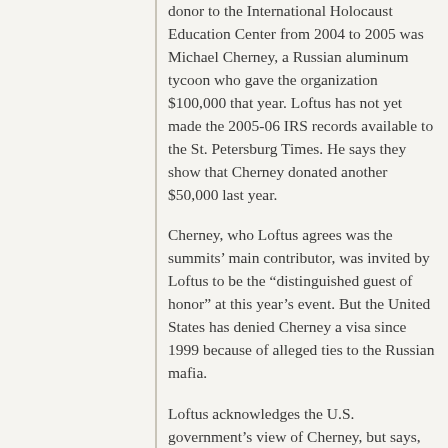donor to the International Holocaust Education Center from 2004 to 2005 was Michael Cherney, a Russian aluminum tycoon who gave the organization $100,000 that year. Loftus has not yet made the 2005-06 IRS records available to the St. Petersburg Times. He says they show that Cherney donated another $50,000 last year.
Cherney, who Loftus agrees was the summits' main contributor, was invited by Loftus to be the “distinguished guest of honor” at this year's event. But the United States has denied Cherney a visa since 1999 because of alleged ties to the Russian mafia.
Loftus acknowledges the U.S. government's view of Cherney, but says, “He was framed by Negroponte and never